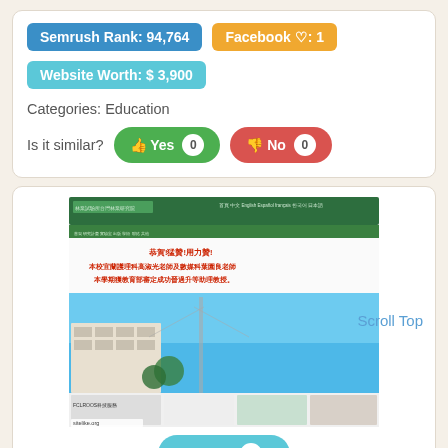Semrush Rank: 94,764
Facebook ♡: 1
Website Worth: $ 3,900
Categories: Education
Is it similar?  Yes 0  No 0
[Figure (screenshot): Screenshot of a Taiwanese educational institution website with green header navigation, red Chinese text announcement, and blue sky building photo]
Scroll Top
Like 0